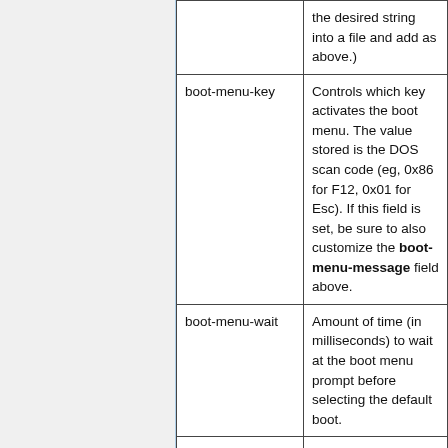| Field | Description |
| --- | --- |
|  | the desired string into a file and add as above.) |
| boot-menu-key | Controls which key activates the boot menu. The value stored is the DOS scan code (eg, 0x86 for F12, 0x01 for Esc). If this field is set, be sure to also customize the boot-menu-message field above. |
| boot-menu-wait | Amount of time (in milliseconds) to wait at the boot menu prompt before selecting the default boot. |
|  | If no boot devices are found SeaBIOS will reboot after 60 seconds. |